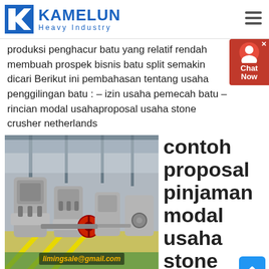[Figure (logo): Kamelun Heavy Industry logo — blue K icon and text]
produksi penghacur batu yang relatif rendah membuah prospek bisnis batu split semakin dicari Berikut ini pembahasan tentang usaha penggilingan batu : – izin usaha pemecah batu – rincian modal usahaproposal usaha stone crusher netherlands
[Figure (photo): Industrial stone crusher machines in a factory floor, with red flywheel visible. Watermark text: limingsale@gmail.com]
contoh proposal pinjaman modal usaha stone
Contoh